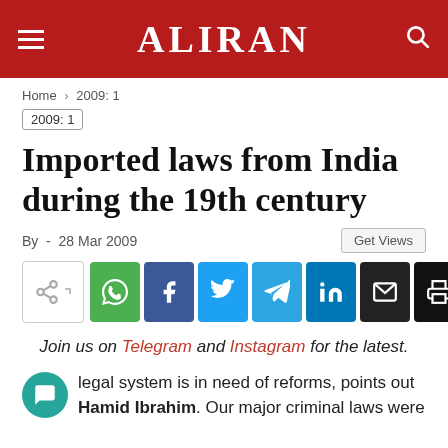ALIRAN
Home › 2009: 1
2009: 1
Imported laws from India during the 19th century
By  -  28 Mar 2009
[Figure (other): Social share buttons: share, WhatsApp, Facebook, Twitter, Telegram, LinkedIn, Email, Print]
Join us on Telegram and Instagram for the latest.
legal system is in need of reforms, points out Hamid Ibrahim. Our major criminal laws were